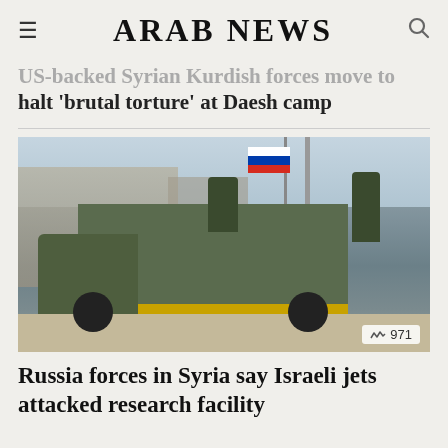ARAB NEWS
US-backed Syrian Kurdish forces move to halt 'brutal torture' at Daesh camp
[Figure (photo): Russian military truck with Russian flag flying, soldiers on top, driving through what appears to be a war-damaged Syrian town. A utility pole visible on the right. Counter shows 971 views.]
Russia forces in Syria say Israeli jets attacked research facility